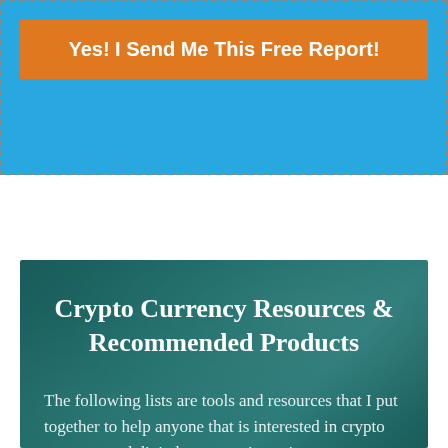[Figure (screenshot): Blue call-to-action box with dashed border containing an orange button that reads 'Yes! I Send Me This Free Report!']
Crypto Currency Resources & Recommended Products
The following lists are tools and resources that I put together to help anyone that is interested in crypto currency and digital currency investing.